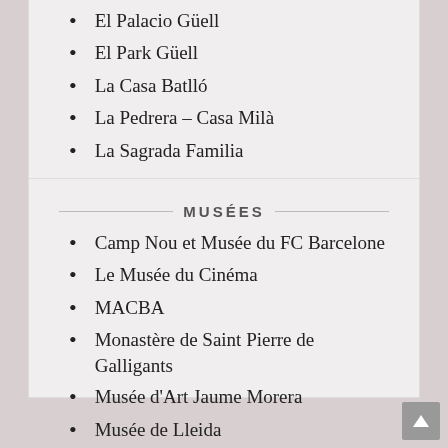El Palacio Güell
El Park Güell
La Casa Batlló
La Pedrera – Casa Milà
La Sagrada Familia
MUSÉES
Camp Nou et Musée du FC Barcelone
Le Musée du Cinéma
MACBA
Monastère de Saint Pierre de Galligants
Musée d'Art Jaume Morera
Musée de Lleida
Musée National d'Art de Catalogne